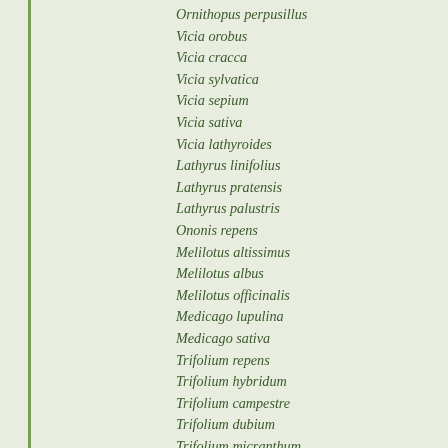Ornithopus perpusillus — Bird
Vicia orobus — Wo
Vicia cracca — Tuft
Vicia sylvatica — Wo
Vicia sepium — Bus
Vicia sativa — Cor
Vicia lathyroides — Spr
Lathyrus linifolius — Bitte
Lathyrus pratensis — Mea
Lathyrus palustris — Mar
Ononis repens — Cor
Melilotus altissimus — Tall
Melilotus albus — Whi
Melilotus officinalis — Ribl
Medicago lupulina — Blac
Medicago sativa — Luc
Trifolium repens — Whi
Trifolium hybridum — Alsi
Trifolium campestre — Hop
Trifolium dubium — Les
Trifolium micranthum — Sle
Trifolium pratense — Red
Trifolium medium — Ti